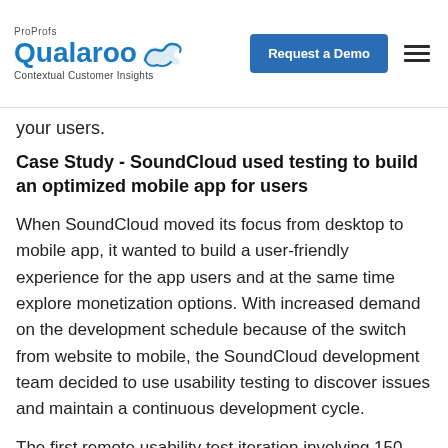ProProfs Qualaroo — Contextual Customer Insights | Request a Demo
your users.
Case Study - SoundCloud used testing to build an optimized mobile app for users
When SoundCloud moved its focus from desktop to mobile app, it wanted to build a user-friendly experience for the app users and at the same time explore monetization options. With increased demand on the development schedule because of the switch from website to mobile, the SoundCloud development team decided to use usability testing to discover issues and maintain a continuous development cycle.
The first remote usability test iteration involving 150